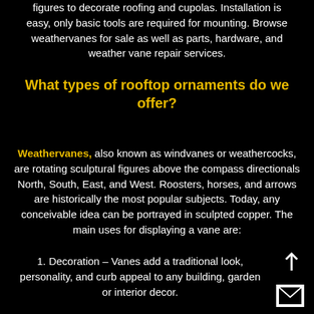figures to decorate roofing and cupolas. Installation is easy, only basic tools are required for mounting. Browse weathervanes for sale as well as parts, hardware, and weather vane repair services.
What types of rooftop ornaments do we offer?
Weathervanes, also known as windvanes or weathercocks, are rotating sculptural figures above the compass directionals North, South, East, and West. Roosters, horses, and arrows are historically the most popular subjects. Today, any conceivable idea can be portrayed in sculpted copper. The main uses for displaying a vane are:
1. Decoration – Vanes add a traditional look, personality, and curb appeal to any building, garden or interior decor.